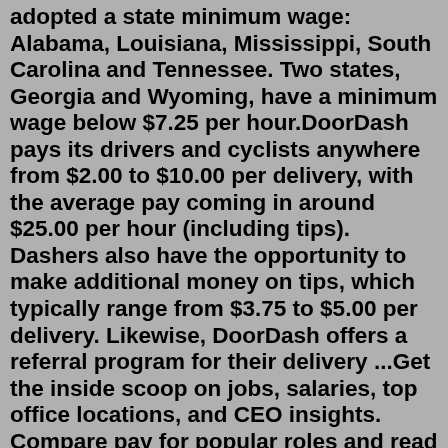adopted a state minimum wage: Alabama, Louisiana, Mississippi, South Carolina and Tennessee. Two states, Georgia and Wyoming, have a minimum wage below $7.25 per hour.DoorDash pays its drivers and cyclists anywhere from $2.00 to $10.00 per delivery, with the average pay coming in around $25.00 per hour (including tips). Dashers also have the opportunity to make additional money on tips, which typically range from $3.75 to $5.00 per delivery. Likewise, DoorDash offers a referral program for their delivery ...Get the inside scoop on jobs, salaries, top office locations, and CEO insights. Compare pay for popular roles and read about the team's work-life balance. Uncover why DoorDash is the best company for you.. DoorDash stock rose 86 percent above its initial public offering price of $102 to close the day at $189.51. That valued the company at $72 ... Aug 05, 2022 · DoorDash (NYSE:DASH) stock rose 11% after the food delivery firm raised its annual target for gross order value, a key industry metric, saying it does not expect a slowdown in demand despite ...." As